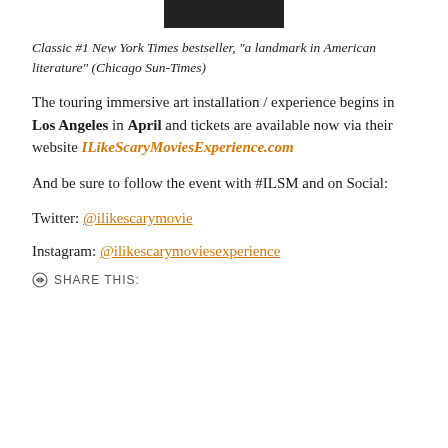[Figure (photo): Small black and white photo at top center of page]
Classic #1 New York Times bestseller, "a landmark in American literature" (Chicago Sun-Times)
The touring immersive art installation / experience begins in Los Angeles in April and tickets are available now via their website ILikeScaryMoviesExperience.com
And be sure to follow the event with #ILSM and on Social:
Twitter: @ilikescarymovie
Instagram: @ilikescarymoviesexperience
SHARE THIS: